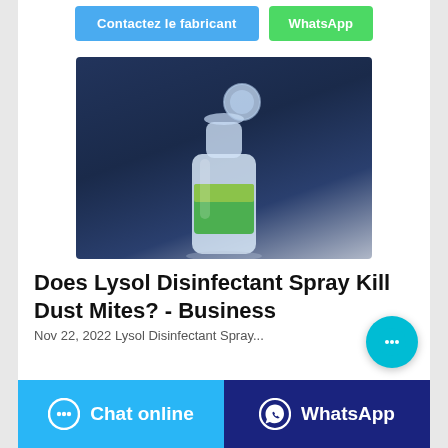[Figure (other): Two buttons at top: blue 'Contactez le fabricant' and green 'WhatsApp']
[Figure (photo): A clear plastic bottle with a flip-top cap, partially open, with a green and yellow label, on a dark blue background]
Does Lysol Disinfectant Spray Kill Dust Mites? - Business
Nov 22, 2022 Lysol Disinfectant Spray...
[Figure (other): Bottom action bar with cyan 'Chat online' button and dark blue 'WhatsApp' button]